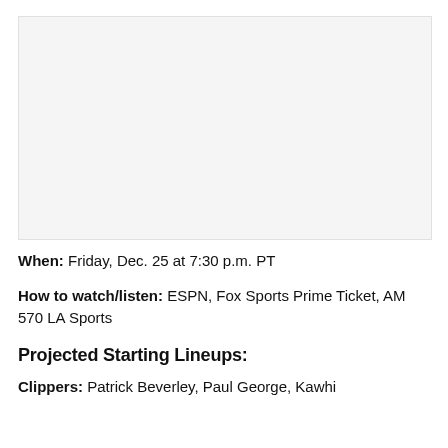[Figure (photo): Blank/white image placeholder area at top of page]
When: Friday, Dec. 25 at 7:30 p.m. PT
How to watch/listen: ESPN, Fox Sports Prime Ticket, AM 570 LA Sports
Projected Starting Lineups:
Clippers: Patrick Beverley, Paul George, Kawhi